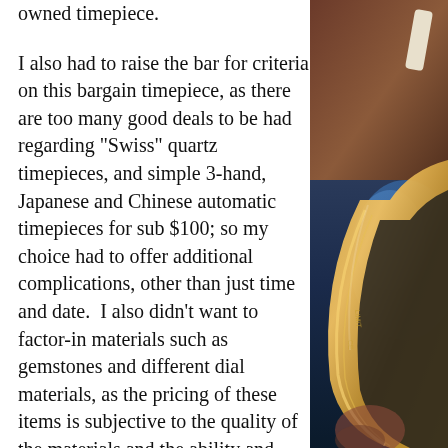owned timepiece.
I also had to raise the bar for criteria on this bargain timepiece, as there are too many good deals to be had regarding "Swiss" quartz timepieces, and simple 3-hand, Japanese and Chinese automatic timepieces for sub $100; so my choice had to offer additional complications, other than just time and date.  I also didn't want to factor-in materials such as gemstones and different dial materials, as the pricing of these items is subjective to the quality of the materials and the ability and efficiency of each manufacturer to source these exotic materials, and build a percentage of that cost into the timepiece.
[Figure (photo): Close-up photograph of a watch bezel and case, showing gold/brass tones with text engraved, against a blurred brown and blue background.]